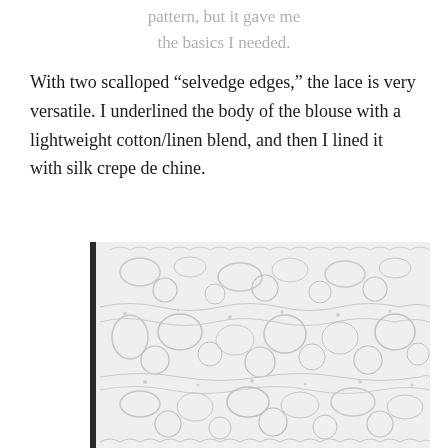pattern, but it gave me the basics I needed.
With two scalloped “selvedge edges,” the lace is very versatile. I underlined the body of the blouse with a lightweight cotton/linen blend, and then I lined it with silk crepe de chine.
[Figure (photo): Close-up photograph of white lace fabric showing intricate floral and scalloped patterns with embossed texture on a white background.]